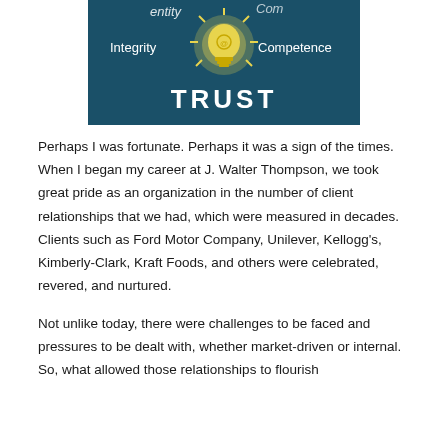[Figure (illustration): Dark teal chalkboard-style image with a glowing yellow lightbulb in the center. Text around the bulb reads 'Integrity' on the left and 'Competence' on the right, with partial text at top reading 'entity' and 'Com...'. Large white chalk-style text at the bottom reads 'TRUST'.]
Perhaps I was fortunate. Perhaps it was a sign of the times. When I began my career at J. Walter Thompson, we took great pride as an organization in the number of client relationships that we had, which were measured in decades. Clients such as Ford Motor Company, Unilever, Kellogg's, Kimberly-Clark, Kraft Foods, and others were celebrated, revered, and nurtured.
Not unlike today, there were challenges to be faced and pressures to be dealt with, whether market-driven or internal.  So, what allowed those relationships to flourish